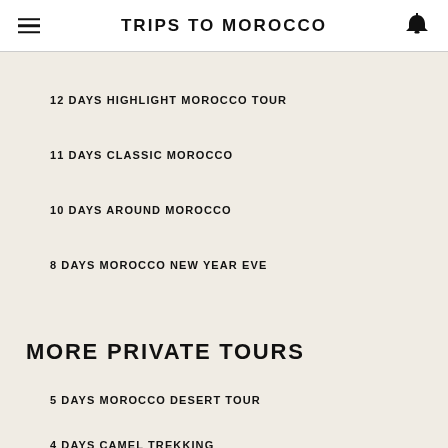TRIPS TO MOROCCO
12 DAYS HIGHLIGHT MOROCCO TOUR
11 DAYS CLASSIC MOROCCO
10 DAYS AROUND MOROCCO
8 DAYS MOROCCO NEW YEAR EVE
MORE PRIVATE TOURS
5 DAYS MOROCCO DESERT TOUR
4 DAYS CAMEL TREKKING